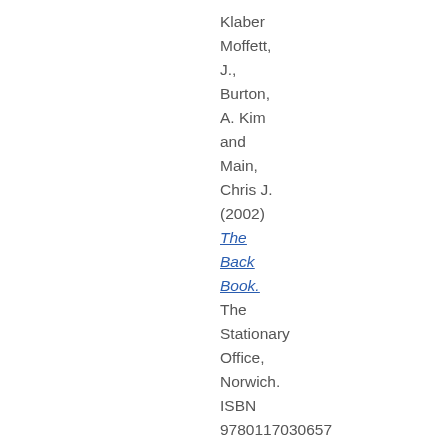Klaber Moffett, J., Burton, A. Kim and Main, Chris J. (2002) The Back Book. The Stationary Office, Norwich. ISBN 9780117030657

Bills, Paul J.